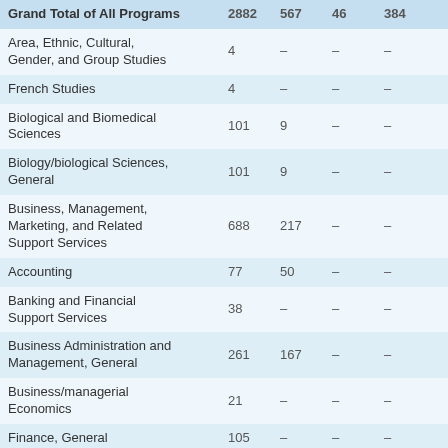| Program | Col1 | Col2 | Col3 | Col4 |
| --- | --- | --- | --- | --- |
| Grand Total of All Programs | 2882 | 567 | 46 | 384 |
| Area, Ethnic, Cultural, Gender, and Group Studies | 4 | – | – | – |
| French Studies | 4 | – | – | – |
| Biological and Biomedical Sciences | 101 | 9 | – | – |
| Biology/biological Sciences, General | 101 | 9 | – | – |
| Business, Management, Marketing, and Related Support Services | 688 | 217 | – | – |
| Accounting | 77 | 50 | – | – |
| Banking and Financial Support Services | 38 | – | – | – |
| Business Administration and Management, General | 261 | 167 | – | – |
| Business/managerial Economics | 21 | – | – | – |
| Finance, General | 105 | – | – | – |